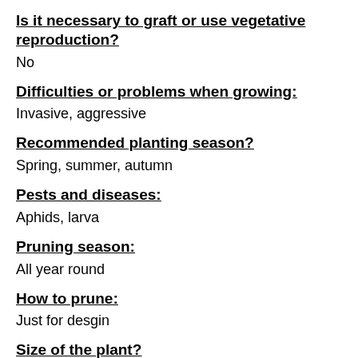Is it necessary to graft or use vegetative reproduction?
No
Difficulties or problems when growing:
Invasive, aggressive
Recommended planting season?
Spring, summer, autumn
Pests and diseases:
Aphids, larva
Pruning season:
All year round
How to prune:
Just for desgin
Size of the plant?